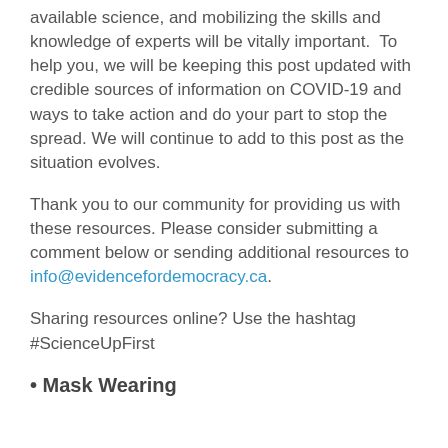available science, and mobilizing the skills and knowledge of experts will be vitally important.  To help you, we will be keeping this post updated with credible sources of information on COVID-19 and ways to take action and do your part to stop the spread. We will continue to add to this post as the situation evolves.
Thank you to our community for providing us with these resources. Please consider submitting a comment below or sending additional resources to info@evidencefordemocracy.ca.
Sharing resources online? Use the hashtag #ScienceUpFirst
Mask Wearing